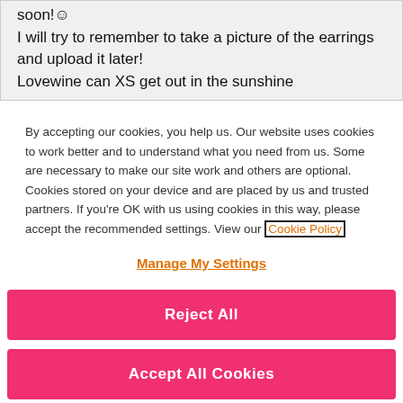soon!☺
I will try to remember to take a picture of the earrings and upload it later!
Lovewine can XS get out in the sunshine
By accepting our cookies, you help us. Our website uses cookies to work better and to understand what you need from us. Some are necessary to make our site work and others are optional. Cookies stored on your device and are placed by us and trusted partners. If you're OK with us using cookies in this way, please accept the recommended settings. View our Cookie Policy
Manage My Settings
Reject All
Accept All Cookies